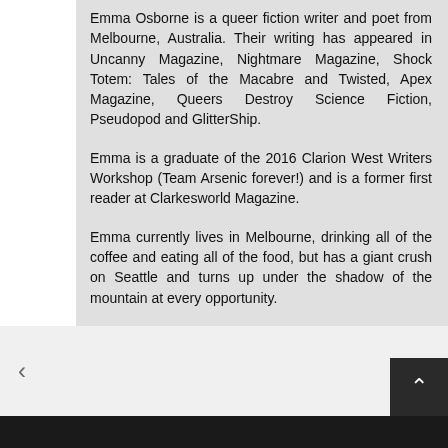Emma Osborne is a queer fiction writer and poet from Melbourne, Australia. Their writing has appeared in Uncanny Magazine, Nightmare Magazine, Shock Totem: Tales of the Macabre and Twisted, Apex Magazine, Queers Destroy Science Fiction, Pseudopod and GlitterShip.
Emma is a graduate of the 2016 Clarion West Writers Workshop (Team Arsenic forever!) and is a former first reader at Clarkesworld Magazine.
Emma currently lives in Melbourne, drinking all of the coffee and eating all of the food, but has a giant crush on Seattle and turns up under the shadow of the mountain at every opportunity.
< >